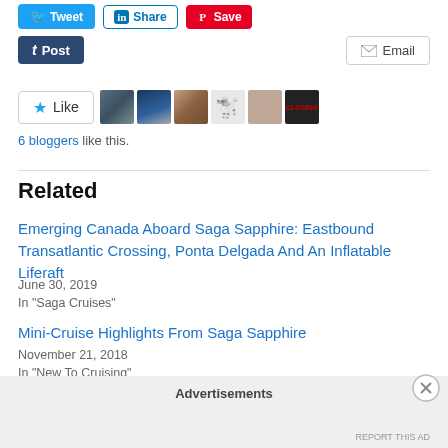[Figure (screenshot): Social sharing buttons row: Tweet (blue), Share (LinkedIn), Save (Pinterest red)]
[Figure (screenshot): Tumblr Post button (dark blue) and Email button]
[Figure (screenshot): Like button with star icon and 6 blogger avatars]
6 bloggers like this.
Related
Emerging Canada Aboard Saga Sapphire: Eastbound Transatlantic Crossing, Ponta Delgada And An Inflatable Liferaft
June 30, 2019
In "Saga Cruises"
Mini-Cruise Highlights From Saga Sapphire
November 21, 2018
In "New To Cruising"
Advertisements